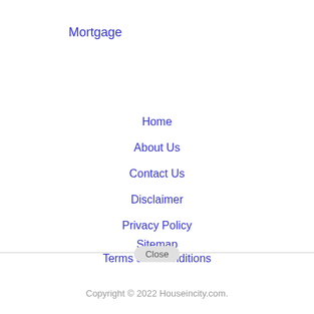Mortgage
Home
About Us
Contact Us
Disclaimer
Privacy Policy
Sitemap
Terms and Conditions
Copyright © 2022 Houseincity.com.